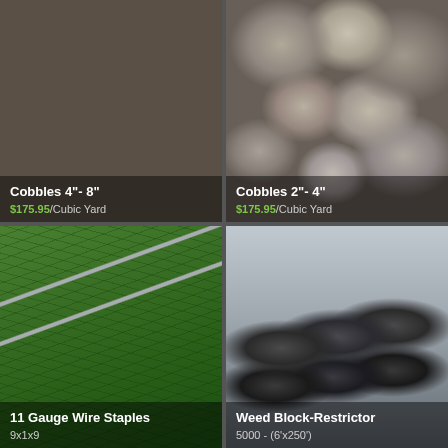[Figure (photo): Large cobblestones 4"-8" in size, gray and tan colored]
Cobbles 4"- 8"
$175.95/Cubic Yard
[Figure (photo): Smaller cobblestones 2"-4" in size, mixed gray and tan]
Cobbles 2"- 4"
$175.95/Cubic Yard
[Figure (photo): Close-up of artificial green grass with metal wire staples running diagonally]
11 Gauge Wire Staples
9x1x9
[Figure (photo): Rolls of black weed block/restrictor fabric stacked on a pallet]
Weed Block-Restrictor
5000 - (6'x250')